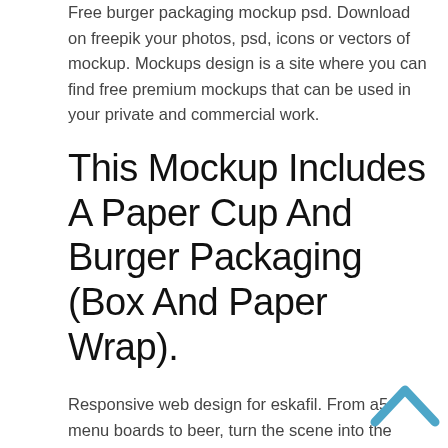Free burger packaging mockup psd. Download on freepik your photos, psd, icons or vectors of mockup. Mockups design is a site where you can find free premium mockups that can be used in your private and commercial work.
This Mockup Includes A Paper Cup And Burger Packaging (Box And Paper Wrap).
Responsive web design for eskafil. From a5 menu boards to beer, turn the scene into the burger mockup of your choosing. Free horizontal a3 wall calendar mockup prepared for instant download and use.